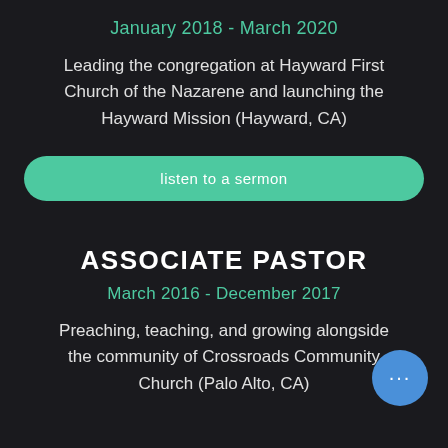January 2018 - March 2020
Leading the congregation at Hayward First Church of the Nazarene and launching the Hayward Mission (Hayward, CA)
listen to a sermon
ASSOCIATE PASTOR
March 2016 - December 2017
Preaching, teaching, and growing alongside the community of Crossroads Community Church (Palo Alto, CA)